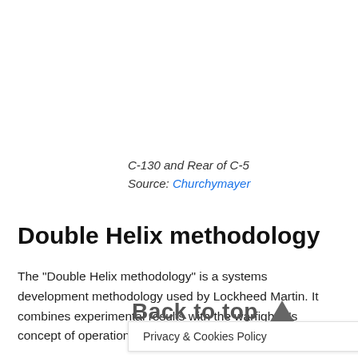C-130 and Rear of C-5
Source: Churchymayer
Double Helix methodology
The "Double Helix methodology" is a systems development methodology used by Lockheed Martin. It combines experimental results with the warfighter's concept of operations to create new tactics and weapons...